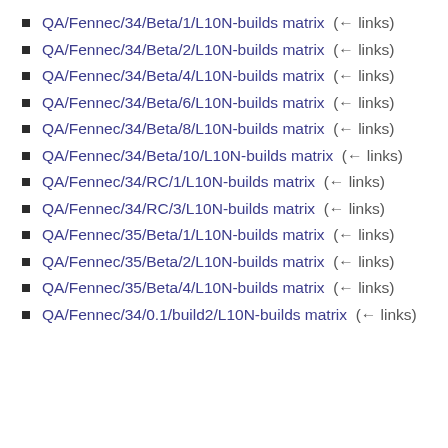QA/Fennec/34/Beta/1/L10N-builds matrix  (← links)
QA/Fennec/34/Beta/2/L10N-builds matrix  (← links)
QA/Fennec/34/Beta/4/L10N-builds matrix  (← links)
QA/Fennec/34/Beta/6/L10N-builds matrix  (← links)
QA/Fennec/34/Beta/8/L10N-builds matrix  (← links)
QA/Fennec/34/Beta/10/L10N-builds matrix  (← links)
QA/Fennec/34/RC/1/L10N-builds matrix  (← links)
QA/Fennec/34/RC/3/L10N-builds matrix  (← links)
QA/Fennec/35/Beta/1/L10N-builds matrix  (← links)
QA/Fennec/35/Beta/2/L10N-builds matrix  (← links)
QA/Fennec/35/Beta/4/L10N-builds matrix  (← links)
QA/Fennec/34/0.1/build2/L10N-builds matrix  (← links)